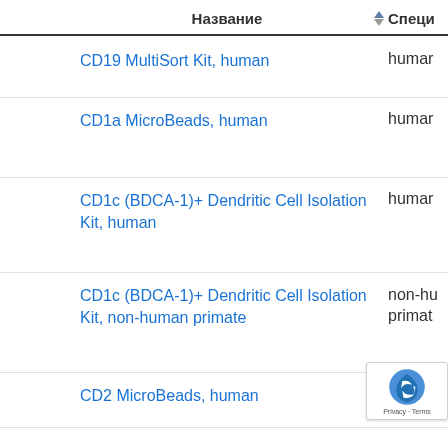Название  ▲▼  Специальность
CD19 MultiSort Kit, human | human
CD1a MicroBeads, human | human
CD1c (BDCA-1)+ Dendritic Cell Isolation Kit, human | human
CD1c (BDCA-1)+ Dendritic Cell Isolation Kit, non-human primate | non-human primate
CD2 MicroBeads, human